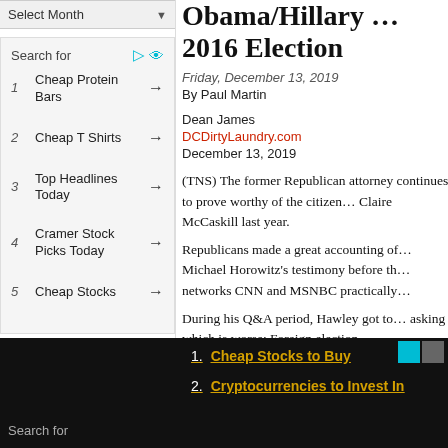Select Month
Search for
1 Cheap Protein Bars →
2 Cheap T Shirts →
3 Top Headlines Today →
4 Cramer Stock Picks Today →
5 Cheap Stocks →
Obama/Hillary … 2016 Election
Friday, December 13, 2019
By Paul Martin
Dean James
DCDirtyLaundry.com
December 13, 2019
(TNS) The former Republican attorney continues to prove worthy of the citizen… Claire McCaskill last year.
Republicans made a great accounting of… Michael Horowitz's testimony before th… networks CNN and MSNBC practically…
During his Q&A period, Hawley got to… asking which is worse: Foreign election…
1. Cheap Stocks to Buy
2. Cryptocurrencies to Invest In
Search for